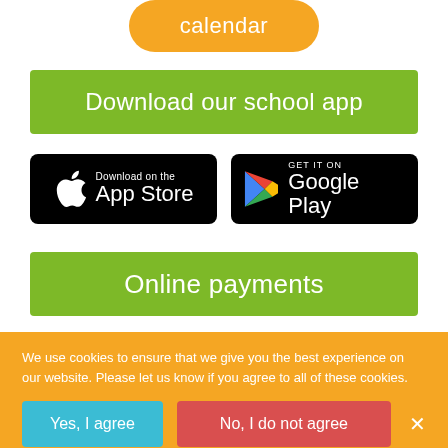[Figure (other): Orange rounded button with text 'calendar']
Download our school app
[Figure (other): App Store download button (black, Apple logo)]
[Figure (other): Google Play download button (black, Play logo)]
Online payments
We use cookies to ensure that we give you the best experience on our website. Please let us know if you agree to all of these cookies.
[Figure (other): Cookie consent buttons: Yes I agree (teal), No I do not agree (red), Read more (purple), close X]